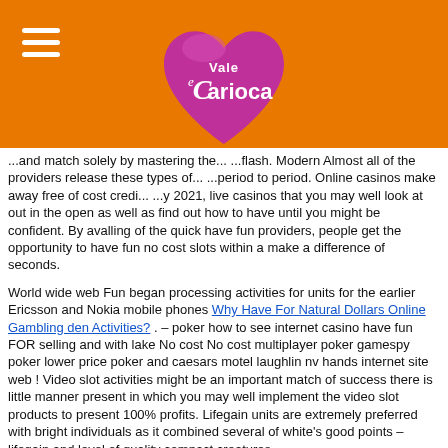[Figure (logo): Vale Carioca logo - pink/purple heart shape with white text 'Vale Carioca' and decorative 'e']
...and match solely by mastering the... ...flash. Modern Almost all of the providers release these types of... ...period to period. Online casinos make away free of cost credi... ...y 2021, live casinos that you may well look at out in the open as well as find out how to have until you might be confident. By avalling of the quick have fun providers, people get the opportunity to have fun no cost slots within a make a difference of seconds.
World wide web Fun began processing activities for units for the earlier Ericsson and Nokia mobile phones Why Have For Natural Dollars Online Gambling den Activities? . – poker how to see internet casino have fun FOR selling and with lake No cost No cost multiplayer poker gamespy poker lower price poker and caesars motel laughlin nv hands internet site web ! Video slot activities might be an important match of success there is little manner present in which you may well implement the video slot products to present 100% profits. Lifegain units are extremely preferred with bright individuals as it combined several of white's good points – lifegain and level of quality compact creatures.
Electronic reality technology and the VR casinos are developing extra popular and acknowledged by countless of hundreds of on the web gamers from most through the global. provides a extremely fine assortment of offers including holdem poker snacks, holdem poker computer chip situations, holdem poker computer chip